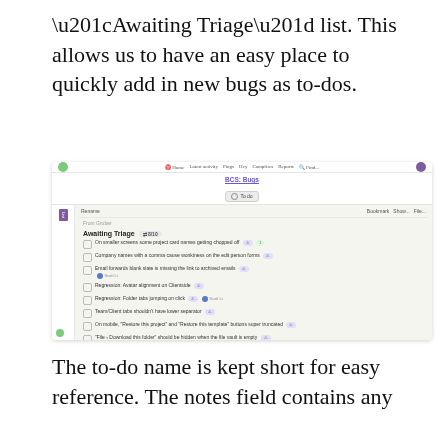“Awaiting Triage” list. This allows us to have an easy place to quickly add in new bugs as to-dos.
[Figure (screenshot): Screenshot of a project management tool (Basecamp) showing a 'BCS: Bugs' project with a 'To do' list called 'Awaiting Triage' containing multiple bug report items such as 'On smaller screens some project card names getting chopped off', 'Company names with a comma cause wonkiness on the edit person forms', 'Email forwards blank slate is missing the link to archived emails', 'Regression: Avatar alignment on Clientside', 'Regression: Folder tabs jumping on click', 'Team/Client tabs shouldn’t have lower separator', 'On mobile, Restore this project and Restore this template buttons super truncated', and 'File › Download this folder should be hidden when the file vault is empty'.]
The to-do name is kept short for easy reference. The notes field contains any